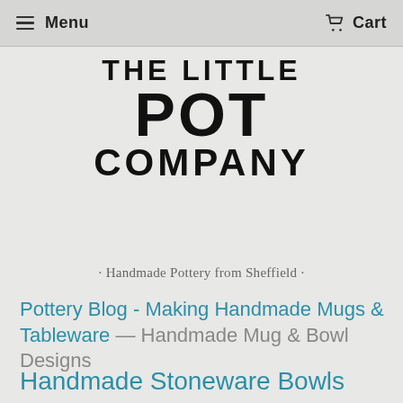Menu   Cart
The Little Pot Company
Handmade Pottery from Sheffield
Pottery Blog - Making Handmade Mugs & Tableware — Handmade Mug & Bowl Designs
Handmade Stoneware Bowls with Expanded Decoration